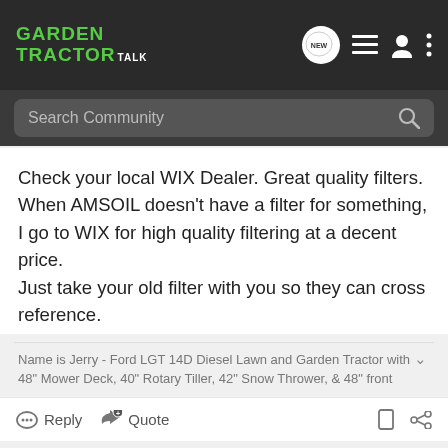GARDEN TRACTOR TALK
Search Community
Check your local WIX Dealer. Great quality filters. When AMSOIL doesn't have a filter for something, I go to WIX for high quality filtering at a decent price.
Just take your old filter with you so they can cross reference.
Name is Jerry - Ford LGT 14D Diesel Lawn and Garden Tractor with 48" Mower Deck, 40" Rotary Tiller, 42" Snow Thrower, & 48" front
Reply   Quote
1 - 5 of 5 Posts
This is an older thread, you may not receive a response, and could be reviving an old thread. Please consider creating a new thread.